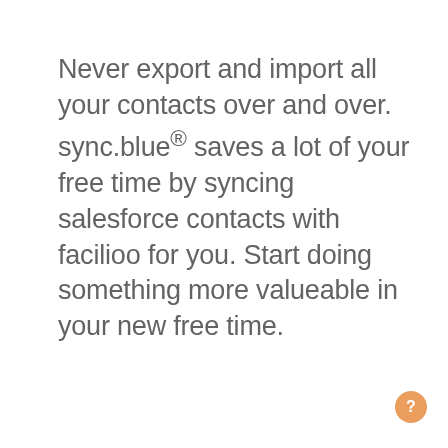Never export and import all your contacts over and over. sync.blue® saves a lot of your free time by syncing salesforce contacts with facilioo for you. Start doing something more valueable in your new free time.
Start saving time now
[Figure (illustration): Partial view of a blue cloud/character illustration at bottom of page, with a light gray background box]